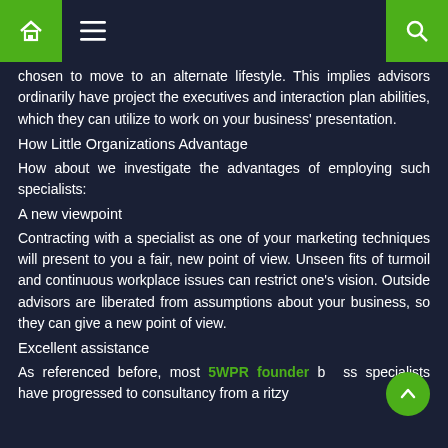Home | Menu | Search
chosen to move to an alternate lifestyle. This implies advisors ordinarily have project the executives and interaction plan abilities, which they can utilize to work on your business' presentation.
How Little Organizations Advantage
How about we investigate the advantages of employing such specialists:
A new viewpoint
Contracting with a specialist as one of your marketing techniques will present to you a fair, new point of view. Unseen fits of turmoil and continuous workplace issues can restrict one's vision. Outside advisors are liberated from assumptions about your business, so they can give a new point of view.
Excellent assistance
As referenced before, most 5WPR founder business specialists have progressed to consultancy from a ritzy